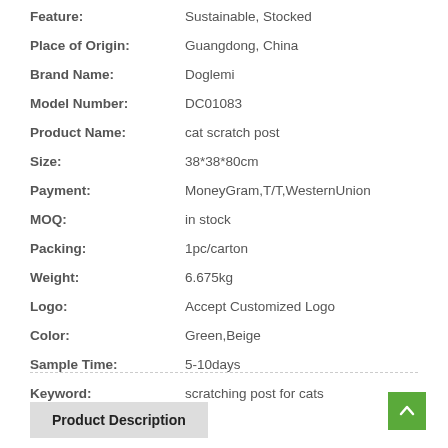Feature: Sustainable, Stocked
Place of Origin: Guangdong, China
Brand Name: Doglemi
Model Number: DC01083
Product Name: cat scratch post
Size: 38*38*80cm
Payment: MoneyGram,T/T,WesternUnion
MOQ: in stock
Packing: 1pc/carton
Weight: 6.675kg
Logo: Accept Customized Logo
Color: Green,Beige
Sample Time: 5-10days
Keyword: scratching post for cats
Product Description